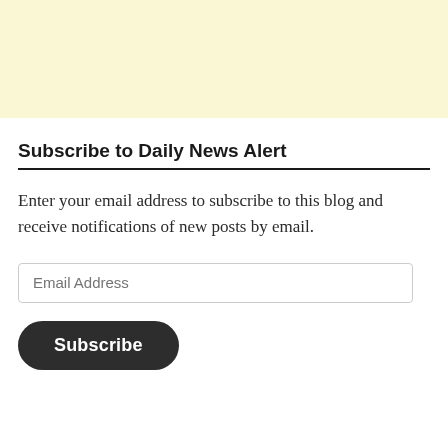[Figure (other): Light yellow banner area at the top of the page]
Subscribe to Daily News Alert
Enter your email address to subscribe to this blog and receive notifications of new posts by email.
Email Address
Subscribe